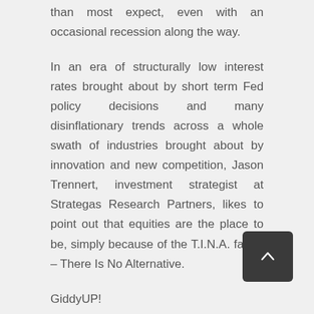than most expect, even with an occasional recession along the way.
In an era of structurally low interest rates brought about by short term Fed policy decisions and many disinflationary trends across a whole swath of industries brought about by innovation and new competition, Jason Trennert, investment strategist at Strategas Research Partners, likes to point out that equities are the place to be, simply because of the T.I.N.A. factor – There Is No Alternative.
GiddyUP!
Kindest Regards,
Doug MacKay, CEO & CIO